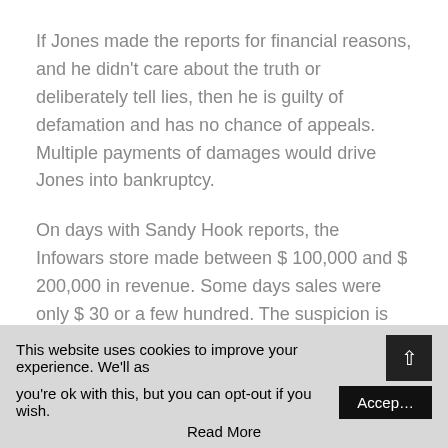If Jones made the reports for financial reasons, and he didn't care about the truth or deliberately tell lies, then he is guilty of defamation and has no chance of appeals. Multiple payments of damages would drive Jones into bankruptcy.
On days with Sandy Hook reports, the Infowars store made between $ 100,000 and $ 200,000 in revenue. Some days sales were only $ 30 or a few hundred. The suspicion is that during phases of bogging sales the boss thought of making another Sandy Hook video to boost sales. The whole company stands or falls with political trends and now any amateur influencer can produce content and go viral. So the competitive pressure is enormous and Jones
This website uses cookies to improve your experience. We'll as you're ok with this, but you can opt-out if you wish. Accept Read More